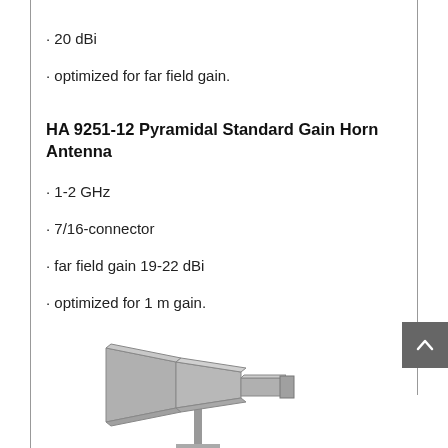· 20 dBi
· optimized for far field gain.
HA 9251-12 Pyramidal Standard Gain Horn Antenna
· 1-2 GHz
· 7/16-connector
· far field gain 19-22 dBi
· optimized for 1 m gain.
[Figure (photo): Photo of a pyramidal standard gain horn antenna mounted on a stand, shown in gray/silver color, side view.]